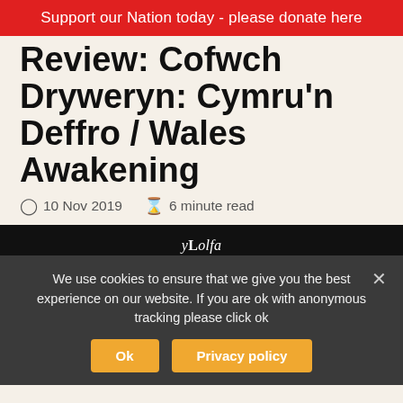Support our Nation today - please donate here
Review: Cofwch Dryweryn: Cymru'n Deffro / Wales Awakening
10 Nov 2019   6 minute read
[Figure (photo): Book cover image with 'y Lolfa' publisher logo and red text 'COFIWCH' on dark background]
We use cookies to ensure that we give you the best experience on our website. If you are ok with anonymous tracking please click ok
Ok   Privacy policy